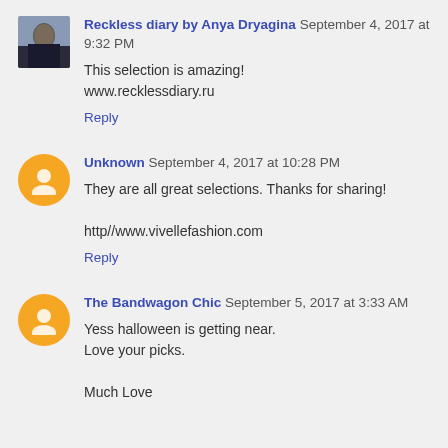Reckless diary by Anya Dryagina September 4, 2017 at 9:32 PM
This selection is amazing!
www.recklessdiary.ru
Reply
Unknown September 4, 2017 at 10:28 PM
They are all great selections. Thanks for sharing!
http//www.vivellefashion.com
Reply
The Bandwagon Chic September 5, 2017 at 3:33 AM
Yess halloween is getting near.
Love your picks.
Much Love